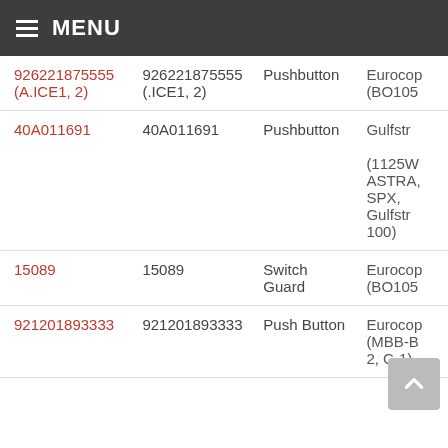MENU
| Part Number (Link) | Part Number | Type | Aircraft |
| --- | --- | --- | --- |
| 926221875555 (A.ICE1, 2) | 926221875555 (.ICE1, 2) | Pushbutton | Eurocop... (BO105... |
| 40A011691 | 40A011691 | Pushbutton | Gulfstream (1125W... ASTRA, SPX, Gulfstream 100) |
| 15089 | 15089 | Switch Guard | Eurocop... (BO105... |
| 921201893333 | 921201893333 | Push Button | Eurocop... (MBB-B... 2, C-1) |